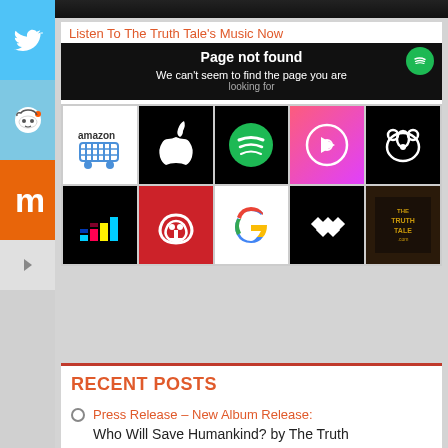[Figure (screenshot): Top partial image strip showing dark/black content]
Listen To The Truth Tale's Music Now
[Figure (screenshot): Page not found error screen with Spotify badge. Text: 'Page not found' and 'We can't seem to find the page you are looking for']
[Figure (infographic): Grid of 10 music/streaming service icons: Amazon Music, Apple, Spotify, Apple Music (iTunes), Napster (top row); Deezer, iHeartRadio, Google Play Music, Tidal, The Truth Tale (bottom row)]
RECENT POSTS
Press Release – New Album Release: Who Will Save Humankind? by The Truth